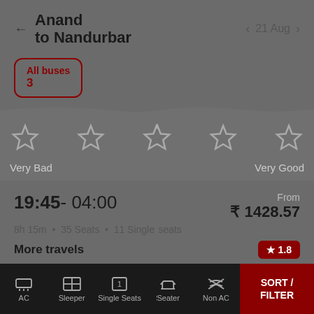Anand to Nandurbar  |  21 Aug
All buses
3
[Figure (infographic): Star rating filter with 5 unfilled stars, labeled Very Bad on left and Very Good on right]
19:45 - 04:00  |  From ₹ 1428.57
8h 15m  •  35 Seats  •  11 Single seats
More travels
★ 1.8
A/C Seater / Sleeper (2+1)
AC  |  Sleeper  |  Single Seats  |  Seater  |  Non AC  |  SORT / FILTER